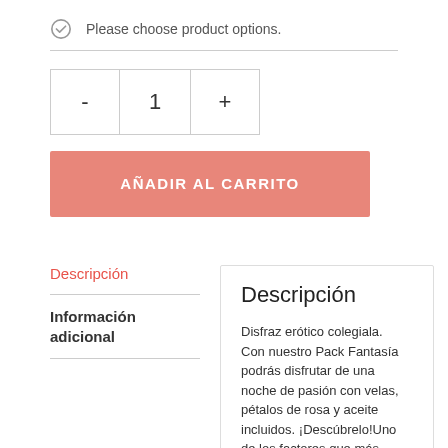Please choose product options.
- 1 +
AÑADIR AL CARRITO
Descripción
Información adicional
Descripción
Disfraz erótico colegiala.
Con nuestro Pack Fantasía podrás disfrutar de una noche de pasión con velas, pétalos de rosa y aceite incluidos. ¡Descúbrelo!Uno de los factores que más excitan es la imaginación y las fantasías.